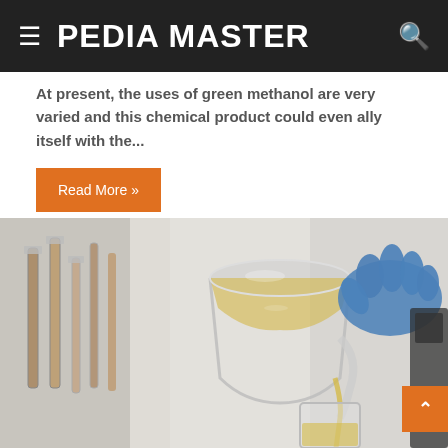PEDIA MASTER
At present, the uses of green methanol are very varied and this chemical product could even ally itself with the...
Read More »
[Figure (photo): Laboratory scene showing a person wearing blue gloves pouring a yellow liquid from a glass beaker into a tall glass cylinder, with test tubes visible in the background.]
^